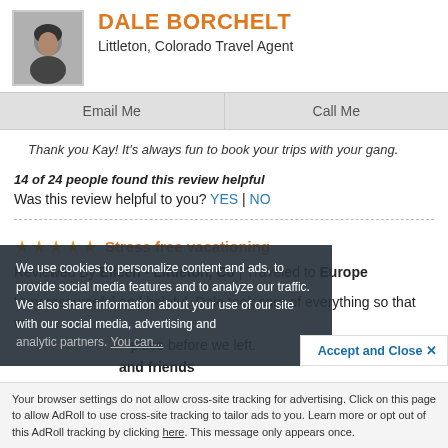[Figure (photo): Profile photo of Dale Borchelt, a woman in dark clothing against a light background]
DALE BORCHELT
Littleton, Colorado Travel Agent
Email Me | Call Me
Thank you Kay! It’s always fun to book your trips with your gang.
14 of 24 people found this review helpful
Was this review helpful to you? YES | NO
Stress free vacationing
Reviewed By Eileen - Littleton, Co | Traveled to Europe
Very resourceful and helpful. Dale took care of everything so that we [place before we left. and friends
We use cookies to personalize content and ads, to provide social media features and to analyze our traffic. We also share information about your use of our site with our social media, advertising and analytic partners. You can...
Accept and Close ×
Your browser settings do not allow cross-site tracking for advertising. Click on this page to allow AdRoll to use cross-site tracking to tailor ads to you. Learn more or opt out of this AdRoll tracking by clicking here. This message only appears once.